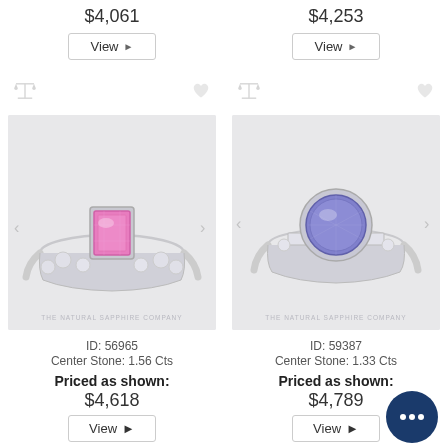$4,061
View ▶
$4,253
View ▶
[Figure (photo): Pink sapphire emerald-cut center stone engagement ring with diamond-studded band on light gray background. Watermark: THE NATURAL SAPPHIRE COMPANY]
[Figure (photo): Blue/violet round tanzanite center stone engagement ring with three-stone setting on light gray background. Watermark: THE NATURAL SAPPHIRE COMPANY]
ID: 56965
Center Stone: 1.56 Cts
Priced as shown:
$4,618
View ▶
ID: 59387
Center Stone: 1.33 Cts
Priced as shown:
$4,789
View ▶